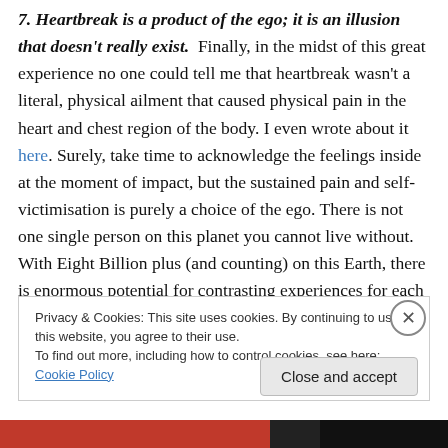7. Heartbreak is a product of the ego; it is an illusion that doesn't really exist. Finally, in the midst of this great experience no one could tell me that heartbreak wasn't a literal, physical ailment that caused physical pain in the heart and chest region of the body. I even wrote about it here. Surely, take time to acknowledge the feelings inside at the moment of impact, but the sustained pain and self-victimisation is purely a choice of the ego. There is not one single person on this planet you cannot live without. With Eight Billion plus (and counting) on this Earth, there is enormous potential for contrasting experiences for each of
Privacy & Cookies: This site uses cookies. By continuing to use this website, you agree to their use. To find out more, including how to control cookies, see here: Cookie Policy